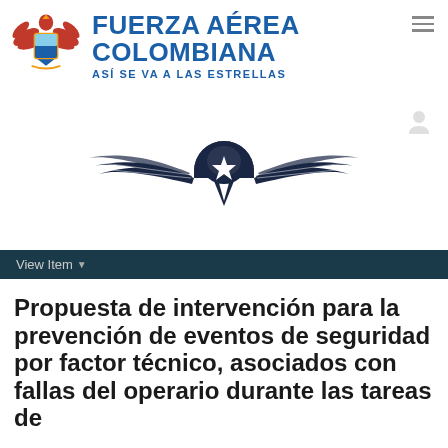[Figure (logo): Fuerza Aérea Colombiana emblem with eagle and shield, alongside the text 'FUERZA AÉREA COLOMBIANA' and tagline 'ASÍ SE VA A LAS ESTRELLAS']
[Figure (logo): Fuerza Aérea Colombiana main wing/star emblem in dark navy blue — stylized wings and star with semicircle above]
View Item
Propuesta de intervención para la prevención de eventos de seguridad por factor técnico, asociados con fallas del operario durante las tareas de